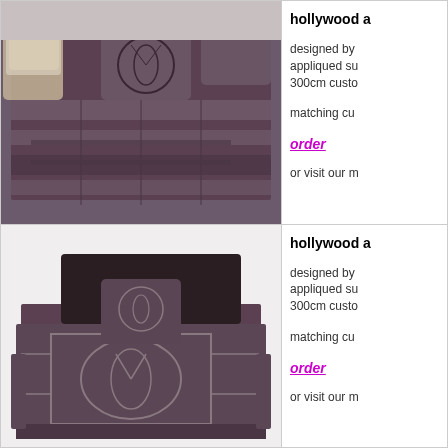[Figure (photo): Bed with dark purple/mauve velvet bedspread featuring art deco appliqued design with decorative cushions, beside an ornate chair]
hollywood a
designed by appliqued su 300cm custo
matching cu
order
or visit our m
[Figure (photo): Bed with dark brown/mauve velvet bedspread featuring art deco geometric appliqued design with decorative cushion, dark headboard]
hollywood a
designed by appliqued su 300cm custo
matching cu
order
or visit our m